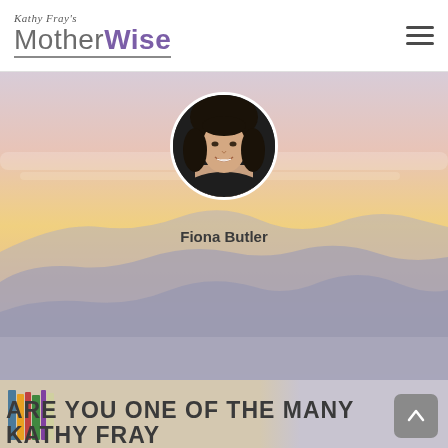Kathy Fray's MotherWise
[Figure (illustration): Hero background with pastel sunset sky gradient (pink, peach, yellow) and blue-grey mountain silhouette]
[Figure (photo): Circular profile photo of Fiona Butler, a woman smiling, with dark background]
Fiona Butler
[Figure (photo): Bottom strip showing partial image with books/shelves on left side]
ARE YOU ONE OF THE MANY KATHY FRAY